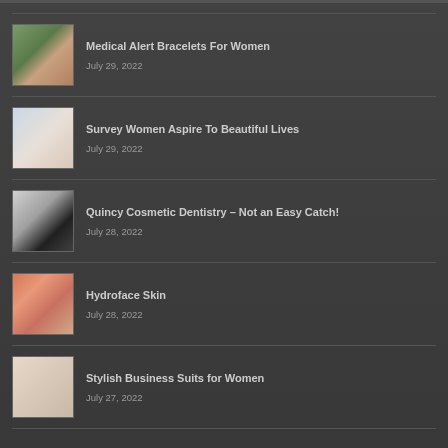Medical Alert Bracelets For Women
July 29, 2022
Survey Women Aspire To Beautiful Lives
July 29, 2022
Quincy Cosmetic Dentistry – Not an Easy Catch!
July 28, 2022
Hydroface Skin
July 28, 2022
Stylish Business Suits for Women
July 27, 2022